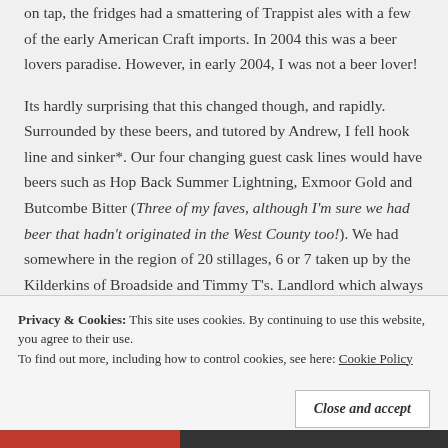on tap, the fridges had a smattering of Trappist ales with a few of the early American Craft imports. In 2004 this was a beer lovers paradise. However, in early 2004, I was not a beer lover!
Its hardly surprising that this changed though, and rapidly. Surrounded by these beers, and tutored by Andrew, I fell hook line and sinker*. Our four changing guest cask lines would have beers such as Hop Back Summer Lightning, Exmoor Gold and Butcombe Bitter (Three of my faves, although I'm sure we had beer that hadn't originated in the West County too!). We had somewhere in the region of 20 stillages, 6 or 7 taken up by the Kilderkins of Broadside and Timmy T's. Landlord which always
Privacy & Cookies: This site uses cookies. By continuing to use this website, you agree to their use.
To find out more, including how to control cookies, see here: Cookie Policy
Close and accept